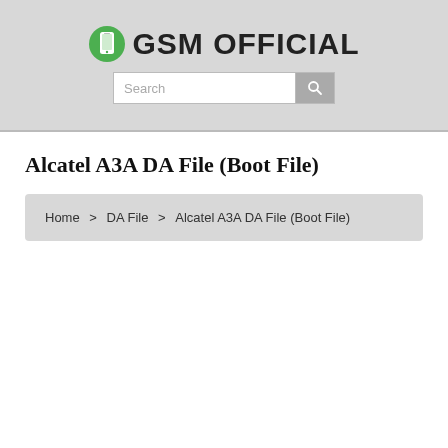[Figure (logo): GSM Official logo with green phone icon and bold text 'GSM OFFICIAL', plus a search bar below]
Alcatel A3A DA File (Boot File)
Home > DA File > Alcatel A3A DA File (Boot File)